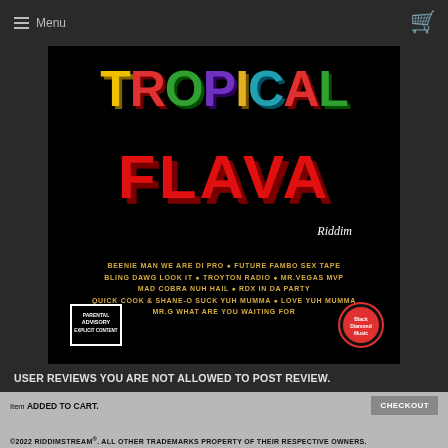≡ Menu  [cart icon]
[Figure (illustration): Tropical Flava Riddim album cover on black background. 'TROPICAL' in large colorful bubble letters (yellow, red, green, purple, teal), 'FLAVA' in large red letters with shadow, 'Riddim' in cursive white script. Tracklist in gold text: BEENIE MAN WE ARE DI PRO • FUTURE FAMBO SEX TAPE, BLING DAWG LOOK IT • TROYTON RADIO • MR.VEGAS MVP, MAD COBRA NUH HAIL • RDX IN DA PARTY, QUICK COOK & SHANE-O SUCK YUH MUMMA • LOVE YUH MUMMA, MR.G WHAT ARE YOU WAITING FOR. Parental Advisory badge bottom left, Black Diamond label logo bottom right.]
USER REVIEWS YOU ARE NOT ALLOWED TO POST REVIEW.
×
Item ADDED TO CART.   CHECKOUT   ©2022 RIDDIMSTREAM®. ALL OTHER TRADEMARKS PROPERTY OF THEIR RESPECTIVE OWNERS.